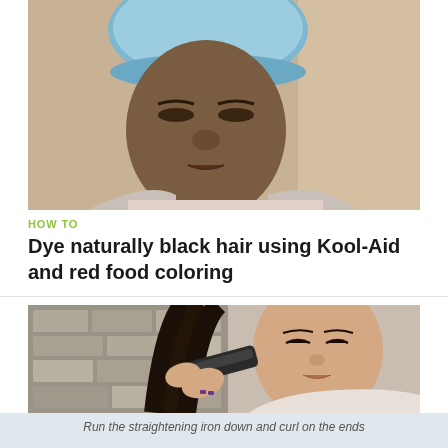[Figure (photo): A woman with a blue shower cap on her head, eyes closed, looking downward. Indoor setting with light-colored walls. Appears to be a video screenshot about hair dyeing.]
HOW TO
Dye naturally black hair using Kool-Aid and red food coloring
[Figure (photo): A young Asian woman with long straight dark hair using a flat iron/hair straightener. She is holding the iron near the ends of her hair. A stone wall background is visible. A caption at the bottom reads: Run the straightening iron down and curl on the ends.]
Run the straightening iron down and curl on the ends